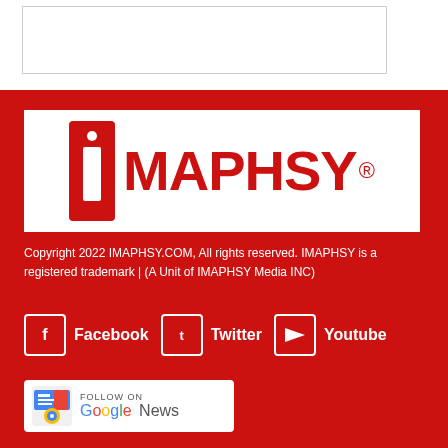[Figure (logo): iMAPHSY logo with red rectangle containing white 'i' character and bold red MAPHSY text with registered trademark symbol]
Copyright 2022 IMAPHSY.COM, All rights reserved. IMAPHSY is a registered trademark | (A Unit of IMAPHSY Media INC)
Facebook  Twitter  Youtube
[Figure (logo): Follow on Google News badge with Google News icon and colorful Google News text]
About Us